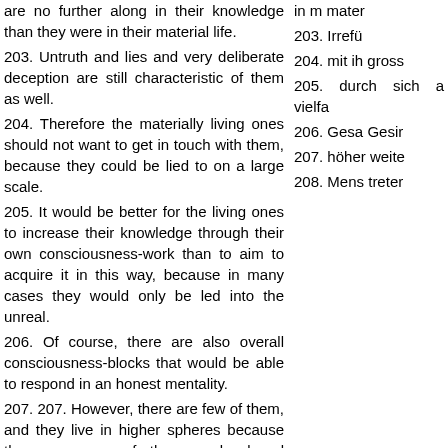are no further along in their knowledge than they were in their material life.
203. Untruth and lies and very deliberate deception are still characteristic of them as well.
204. Therefore the materially living ones should not want to get in touch with them, because they could be lied to on a large scale.
205. It would be better for the living ones to increase their knowledge through their own consciousness-work than to aim to acquire it in this way, because in many cases they would only be led into the unreal.
206. Of course, there are also overall consciousness-blocks that would be able to respond in an honest mentality.
207. 207. However, there are few of them, and they live in higher spheres because they are further developed consciousness-wise.
208. On the whole, however, there are few human beings who can enter into connection with the deceased, as you say.
in m mater
203. Irrefü
204. mit ih gross
205. durch sich a vielfa
206. Gesa Gesir
207. höher weite
208. Mens treter